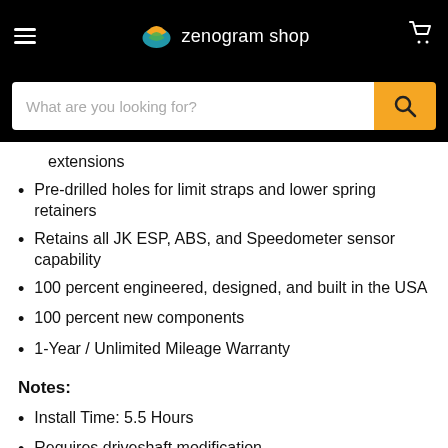zenogram shop
extensions
Pre-drilled holes for limit straps and lower spring retainers
Retains all JK ESP, ABS, and Speedometer sensor capability
100 percent engineered, designed, and built in the USA
100 percent new components
1-Year / Unlimited Mileage Warranty
Notes:
Install Time: 5.5 Hours
Requires driveshaft modification